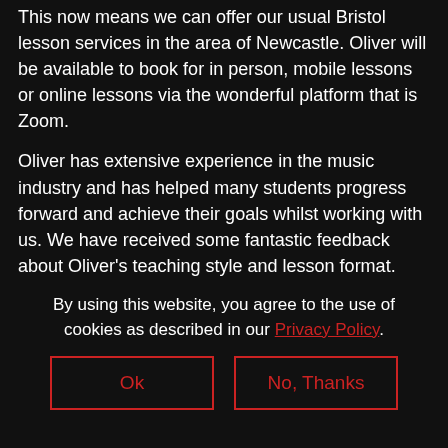This now means we can offer our usual Bristol lesson services in the area of Newcastle. Oliver will be available to book for in person, mobile lessons or online lessons via the wonderful platform that is Zoom.
Oliver has extensive experience in the music industry and has helped many students progress forward and achieve their goals whilst working with us. We have received some fantastic feedback about Oliver's teaching style and lesson format.
By using this website, you agree to the use of cookies as described in our Privacy Policy.
Ok | No, Thanks